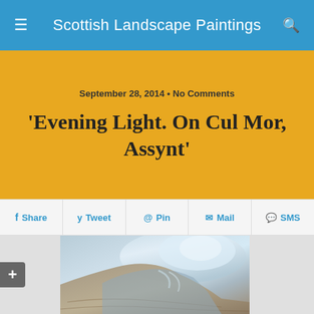Scottish Landscape Paintings
September 28, 2014 • No Comments
'Evening Light. On Cul Mor, Assynt'
Share | Tweet | Pin | Mail | SMS
[Figure (photo): Painting of 'Evening Light. On Cul Mor, Assynt' — a landscape painting showing a mountain with blue-grey atmospheric light and warm brown earth tones, impressionistic brushwork.]